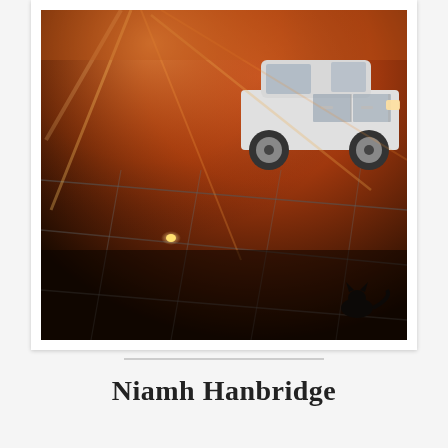[Figure (photo): A photograph taken at dusk or dawn in a parking lot. A white sedan car is parked in the upper right. Strong orange/red lens flare and warm light fills the scene. Dark asphalt with painted white parking lines is visible. A small animal (cat) is visible in the lower right corner. A small yellow light glows near the lower left center.]
Niamh Hanbridge